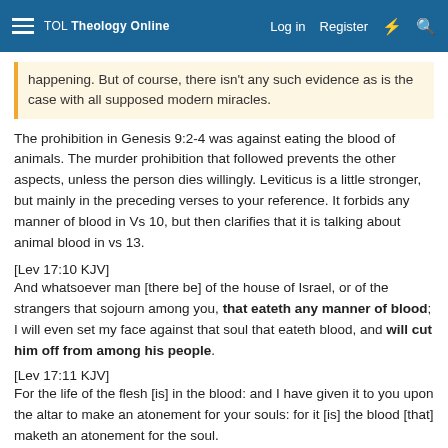TOL Theology Online  Log in  Register
happening. But of course, there isn't any such evidence as is the case with all supposed modern miracles.
The prohibition in Genesis 9:2-4 was against eating the blood of animals. The murder prohibition that followed prevents the other aspects, unless the person dies willingly. Leviticus is a little stronger, but mainly in the preceding verses to your reference. It forbids any manner of blood in Vs 10, but then clarifies that it is talking about animal blood in vs 13.
[Lev 17:10 KJV]
And whatsoever man [there be] of the house of Israel, or of the strangers that sojourn among you, that eateth any manner of blood; I will even set my face against that soul that eateth blood, and will cut him off from among his people.
[Lev 17:11 KJV]
For the life of the flesh [is] in the blood: and I have given it to you upon the altar to make an atonement for your souls: for it [is] the blood [that] maketh an atonement for the soul.